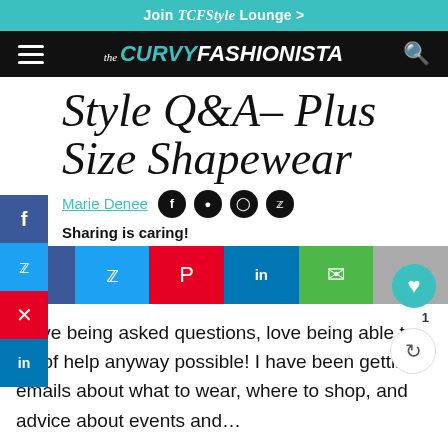Join TCFStyle Lounge >
the CURVY FASHIONISTA
Style Q&A– Plus Size Shapewear
Marie Denee
Sharing is caring!
I love being asked questions, love being able to be of help anyway possible! I have been getting emails about what to wear, where to shop, and advice about events and…